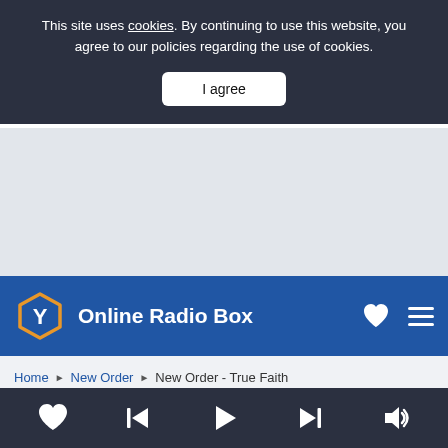This site uses cookies. By continuing to use this website, you agree to our policies regarding the use of cookies.
I agree
[Figure (other): Gray advertisement placeholder area]
Online Radio Box
Home > New Order > New Order - True Faith
La Mega 97.9
[Figure (other): Media player controls: heart, skip back, play, skip forward, volume]